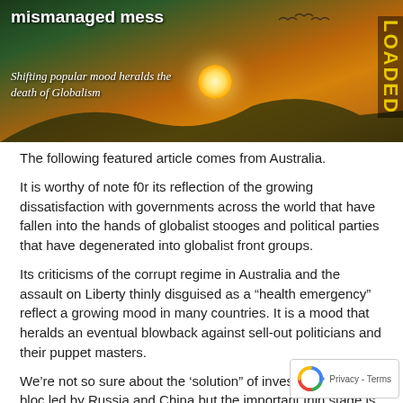[Figure (photo): Dark image banner with orange/sunset sky background, a bright sun/orb in the center, headline text reading 'mismanaged mess' and subtext 'Shifting popular mood heralds the death of Globalism', with 'LOADED' text on right side]
The following featured article comes from Australia.
It is worthy of note f0r its reflection of the growing dissatisfaction with governments across the world that have fallen into the hands of globalist stooges and political parties that have degenerated into globalist front groups.
Its criticisms of the corrupt regime in Australia and the assault on Liberty thinly disguised as a “health emergency” reflect a growing mood in many countries. It is a mood that heralds an eventual blowback against sell-out politicians and their puppet masters.
We’re not so sure about the ‘solution” of investing one’s in a bloc led by Russia and China but the important thin stage is that dissatisfactions with the status quo are real and